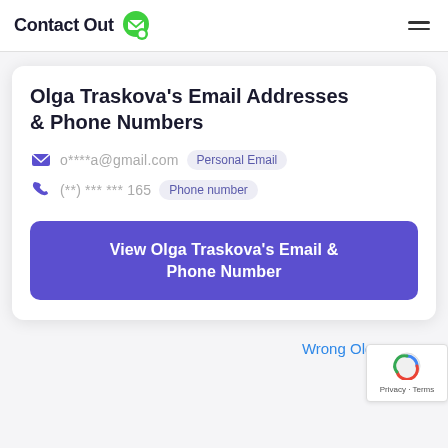ContactOut
Olga Traskova's Email Addresses & Phone Numbers
o****a@gmail.com Personal Email
(**) *** *** 165 Phone number
View Olga Traskova's Email & Phone Number
Wrong Olga Tras…